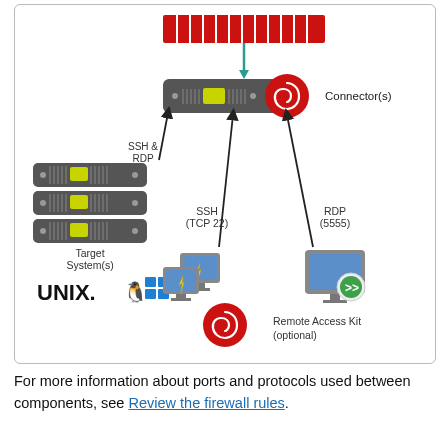[Figure (network-graph): Network architecture diagram showing: internet/cloud at top (red striped bar), connected via teal arrow down to a Connector(s) device (dark rack unit with red spiral logo). On the left, three target server rack units labeled 'Target System(s)' with UNIX and Windows logos, connected via SSH & RDP arrow to the connector. Below the connector, SSH (TCP 22) and RDP (5555) arrows point up from a network switch icon and a remote desktop computer icon respectively. A red spiral Remote Access Kit (optional) logo appears at bottom center-right.]
For more information about ports and protocols used between components, see Review the firewall rules.